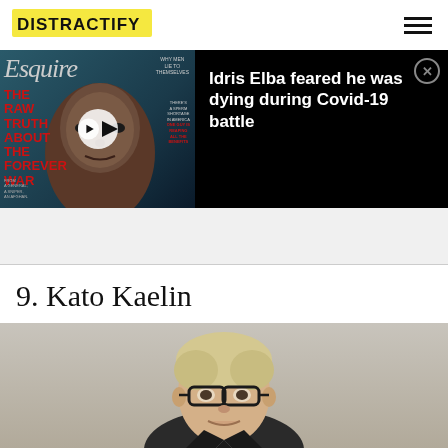DISTRACTIFY
[Figure (screenshot): Esquire magazine cover with Idris Elba and video ad overlay. Headline: Idris Elba feared he was dying during Covid-19 battle]
9. Kato Kaelin
[Figure (photo): Photo of Kato Kaelin at event with partial text 'nt + lounge' and 'CLINICAL SKIN CA' visible in background]